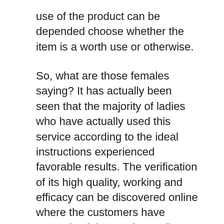use of the product can be depended choose whether the item is a worth use or otherwise.
So, what are those females saying? It has actually been seen that the majority of ladies who have actually used this service according to the ideal instructions experienced favorable results. The verification of its high quality, working and efficacy can be discovered online where the customers have recognized the results. Ladies are buying the product, utilizing it as well as reporting that it is in fact working.
On the other hand, there are women for whom the product is not functioning. And believe me, this is not too much of a